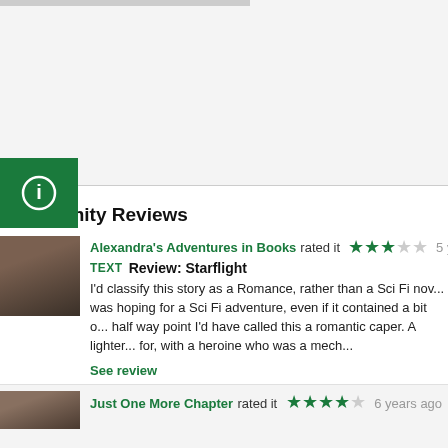[Figure (screenshot): Top area with light grey background and a small image bar at top, plus a green info button icon on the left side]
Community Reviews
[Figure (photo): Reviewer avatar photo showing a person with dark clothing]
Alexandra's Adventures in Books rated it  ★★★☆☆  5 ye...
TEXT  Review: Starflight
I'd classify this story as a Romance, rather than a Sci Fi nov... was hoping for a Sci Fi adventure, even if it contained a bit o... half way point I'd have called this a romantic caper. A lighter... for, with a heroine who was a mech...
See review
[Figure (photo): Second reviewer avatar photo]
Just One More Chapter  rated it  ★★★★☆  6 years ago